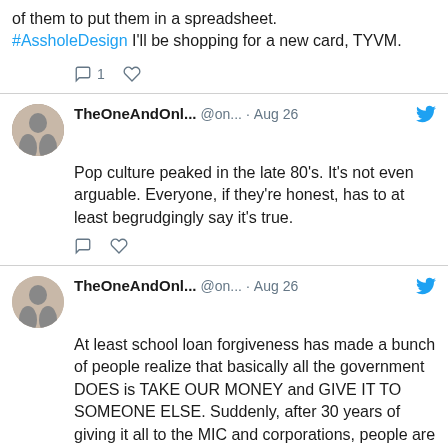of them to put them in a spreadsheet. #AsshholeDesign I'll be shopping for a new card, TYVM.
TheOneAndOnl... @on... · Aug 26 — Pop culture peaked in the late 80's. It's not even arguable. Everyone, if they're honest, has to at least begrudgingly say it's true.
TheOneAndOnl... @on... · Aug 26 — At least school loan forgiveness has made a bunch of people realize that basically all the government DOES is TAKE OUR MONEY and GIVE IT TO SOMEONE ELSE. Suddenly, after 30 years of giving it all to the MIC and corporations, people are having kittens about giving it to PEOPLE.